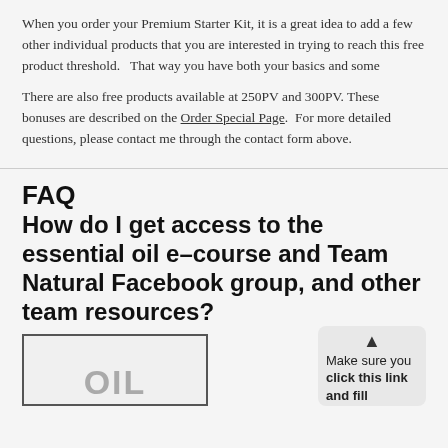When you order your Premium Starter Kit, it is a great idea to add a few other individual products that you are interested in trying to reach this free product threshold.   That way you have both your basics and some
There are also free products available at 250PV and 300PV. These bonuses are described on the Order Special Page.  For more detailed questions, please contact me through the contact form above.
FAQ
How do I get access to the essential oil e–course and Team Natural Facebook group, and other team resources?
[Figure (other): Partially visible image with large text at the bottom, bordered box]
Make sure you click this link and fill